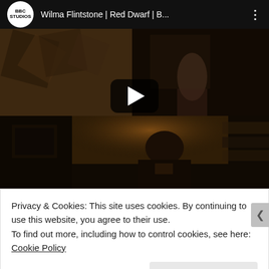[Figure (screenshot): YouTube video embed showing 'Wilma Flintstone | Red Dwarf | B...' from BBC Studios channel. The video thumbnail shows a dark scene with a person visible in the lower portion. A play button is displayed in the center of the video.]
Privacy & Cookies: This site uses cookies. By continuing to use this website, you agree to their use.
To find out more, including how to control cookies, see here: Cookie Policy
Close and accept